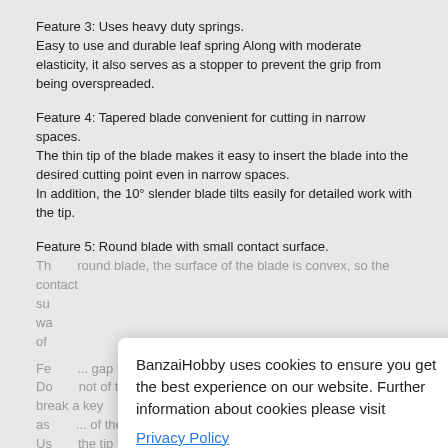Feature 3: Uses heavy duty springs.
Easy to use and durable leaf spring Along with moderate elasticity, it also serves as a stopper to prevent the grip from being overspreaded.
Feature 4: Tapered blade convenient for cutting in narrow spaces.
The thin tip of the blade makes it easy to insert the blade into the desired cutting point even in narrow spaces.
In addition, the 10° slender blade tilts easily for detailed work with the tip.
Feature 5: Round blade with small contact surface.
The round blade, the surface of the blade is convex, so the contact surface is small and the scissors cut well and the blade does not warp even after long use.
of ...
Feature 6: ... gap between the tip and the blade.
Do not of thick objects as the tip as the tapered blade will break a key as ... of the tip.
Use the tip to cut areas applicable to the blade thickness.
Pls ... can be used hand pressure with an adjustment wire.
BanzaiHobby uses cookies to ensure you get the best experience on our website. Further information about cookies please visit
Privacy Policy
Got it!